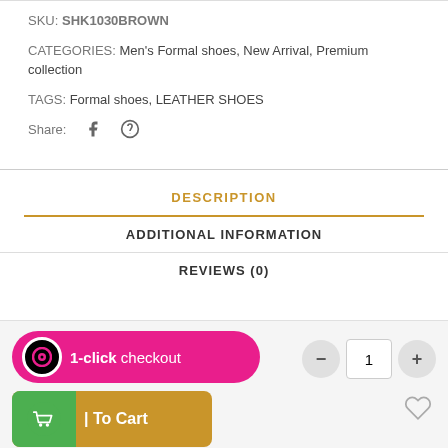SKU: SHK1030BROWN
CATEGORIES: Men's Formal shoes, New Arrival, Premium collection
TAGS: Formal shoes, LEATHER SHOES
Share:
DESCRIPTION
ADDITIONAL INFORMATION
REVIEWS (0)
1-click checkout
| To Cart